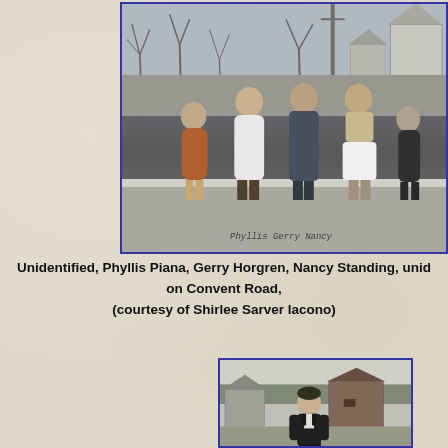[Figure (photo): Black and white photograph of five girls/women standing on a sidewalk on Convent Road. Trees and buildings visible in background. Handwritten names visible at bottom of photo.]
Unidentified, Phyllis Piana, Gerry Horgren, Nancy Standing, unid on Convent Road, (courtesy of Shirlee Sarver Iacono)
[Figure (photo): Black and white photograph of a young man standing outdoors with houses and a barn visible in background.]